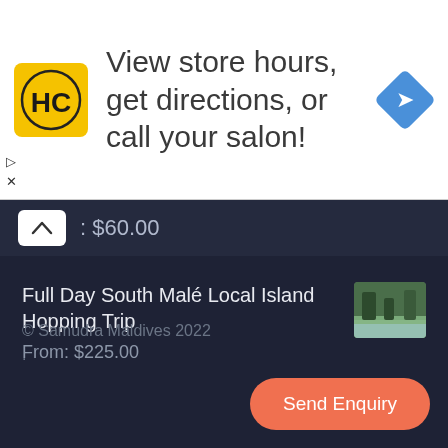[Figure (screenshot): Advertisement banner with HC (Hair Club) logo on yellow background, text 'View store hours, get directions, or call your salon!', and a blue diamond navigation arrow icon on the right.]
$60.00
Full Day South Malé Local Island Hopping Trip
From: $225.00
[Figure (photo): Small thumbnail photo of a tropical island scene with trees and beach.]
© Samudra Maldives 2022
·
Send Enquiry